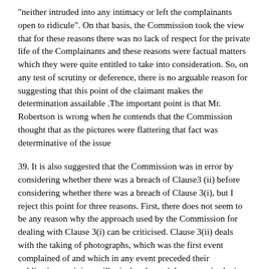"neither intruded into any intimacy or left the complainants open to ridicule". On that basis, the Commission took the view that for these reasons there was no lack of respect for the private life of the Complainants and these reasons were factual matters which they were quite entitled to take into consideration. So, on any test of scrutiny or deference, there is no arguable reason for suggesting that this point of the claimant makes the determination assailable .The important point is that Mr. Robertson is wrong when he contends that the Commission thought that as the pictures were flattering that fact was determinative of the issue
39. It is also suggested that the Commission was in error by considering whether there was a breach of Clause3 (ii) before considering whether there was a breach of Clause 3(i), but I reject this point for three reasons. First, there does not seem to be any reason why the approach used by the Commission for dealing with Clause 3(i) can be criticised. Clause 3(ii) deals with the taking of photographs, which was the first event complained of and which in any event preceded their publication; so it is not illogical and certainly not a mistake in law to deal with that matter first.
40. Second, in any event even if the Defendants ought to have dealt with the claim under Clause 3(i) first, they would have